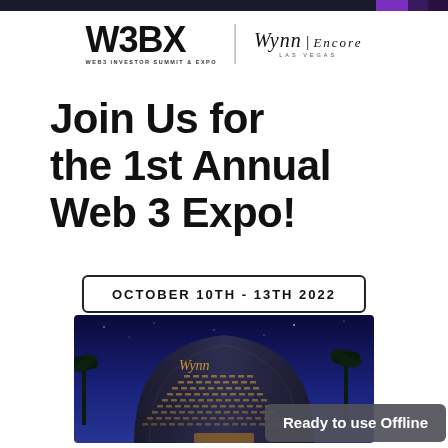W3BX header bar with purple accent
[Figure (logo): W3BX Web3 Investor Summit & Expo logo alongside Wynn | Encore Las Vegas logo]
Join Us for the 1st Annual Web 3 Expo!
OCTOBER 10TH - 13TH 2022
[Figure (photo): Night-time photo of the Wynn Las Vegas hotel building with illuminated signage and palm trees against a dark blue sky]
Ready to use Offline